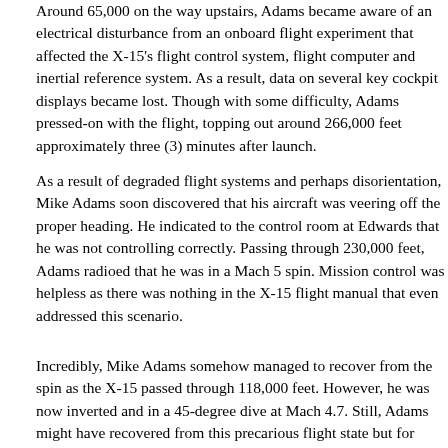Around 65,000 on the way upstairs, Adams became aware of an electrical disturbance from an onboard flight experiment that affected the X-15's flight control system, flight computer and inertial reference system. As a result, data on several key cockpit displays became lost. Though with some difficulty, Adams pressed-on with the flight, topping out around 266,000 feet approximately three (3) minutes after launch.
As a result of degraded flight systems and perhaps disorientation, Mike Adams soon discovered that his aircraft was veering off the proper heading. He indicated to the control room at Edwards that he was not controlling correctly. Passing through 230,000 feet, Adams radioed that he was in a Mach 5 spin. Mission control was helpless as there was nothing in the X-15 flight manual that even addressed this scenario.
Incredibly, Mike Adams somehow managed to recover from the spin as the X-15 passed through 118,000 feet. However, he was now inverted and in a 45-degree dive at Mach 4.7. Still, Adams might have recovered from this precarious flight state but for